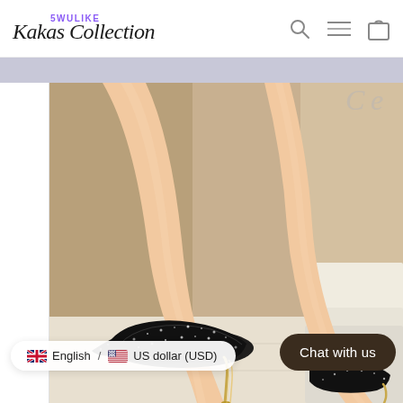[Figure (logo): 5WULIKE Kakas Collection brand logo with purple text and cursive script]
[Figure (photo): Close-up photo of a woman's legs wearing black sparkly crystal high-heel stiletto pumps with a gold metallic heel, seated on white steps with a beige/tan background wall]
🇬🇧 English / 🇺🇸 US dollar (USD)
Chat with us